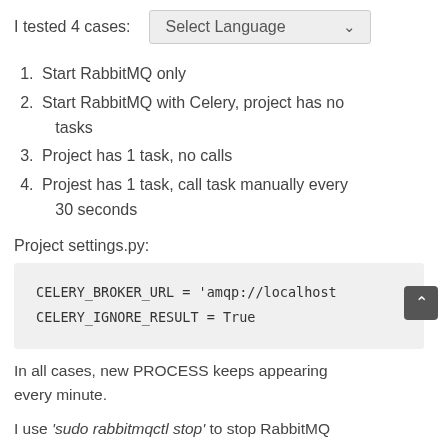I tested 4 cases:
1. Start RabbitMQ only
2. Start RabbitMQ with Celery, project has no tasks
3. Project has 1 task, no calls
4. Projest has 1 task, call task manually every 30 seconds
Project settings.py:
CELERY_BROKER_URL = 'amqp://localhost
CELERY_IGNORE_RESULT = True
In all cases, new PROCESS keeps appearing every minute.
I use 'sudo rabbitmqctl stop' to stop RabbitMQ